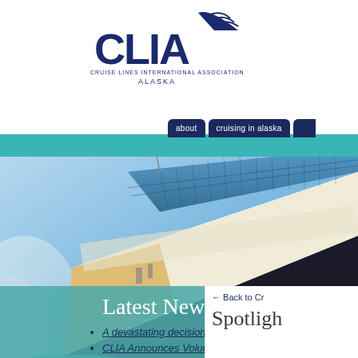[Figure (logo): CLIA logo — Cruise Lines International Association Alaska, dark navy blue text and swoosh graphic]
about    cruising in alaska
[Figure (photo): Close-up photo of a large cruise ship bow with golden hull and glass-paneled upper decks against a blue sky]
Latest News
A devastating decision
CLIA Announces Voluntary
← Back to Cr
Spotligh